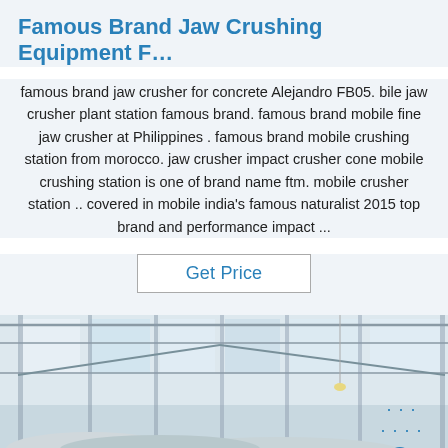Famous Brand Jaw Crushing Equipment F…
famous brand jaw crusher for concrete Alejandro FB05. bile jaw crusher plant station famous brand. famous brand mobile fine jaw crusher at Philippines . famous brand mobile crushing station from morocco. jaw crusher impact crusher cone mobile crushing station is one of brand name ftm. mobile crusher station .. covered in mobile india's famous naturalist 2015 top brand and performance impact ...
Get Price
[Figure (photo): Interior of a large industrial factory/warehouse with steel roof trusses, skylights, and large cylindrical metal tubes/rolls laid on the floor. A worker in a yellow hard hat is visible in the bottom left. A 'TOP' watermark logo with blue drops appears in the bottom right.]